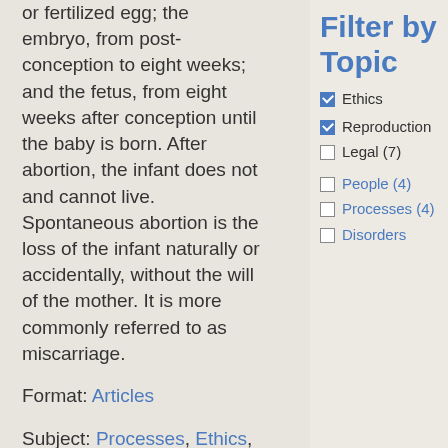or fertilized egg; the embryo, from post-conception to eight weeks; and the fetus, from eight weeks after conception until the baby is born. After abortion, the infant does not and cannot live. Spontaneous abortion is the loss of the infant naturally or accidentally, without the will of the mother. It is more commonly referred to as miscarriage.
Format: Articles
Subject: Processes, Ethics, Reproduction
Filter by Topic
Ethics (checked)
Reproduction (checked)
Legal (7) (unchecked)
People (4) (unchecked)
Processes (4) (unchecked)
Disorders (unchecked, partially visible)